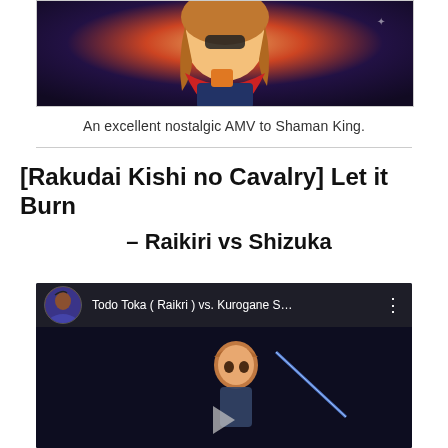[Figure (illustration): Anime character thumbnail showing a chibi-style girl with brown/orange hair, red scarf, dark blue outfit and orange bag]
An excellent nostalgic AMV to Shaman King.
[Rakudai Kishi no Cavalry] Let it Burn – Raikiri vs Shizuka
[Figure (screenshot): YouTube video thumbnail showing 'Todo Toka ( Raikri ) vs. Kurogane S...' with anime character avatar and a fight scene with brown-haired anime girl]